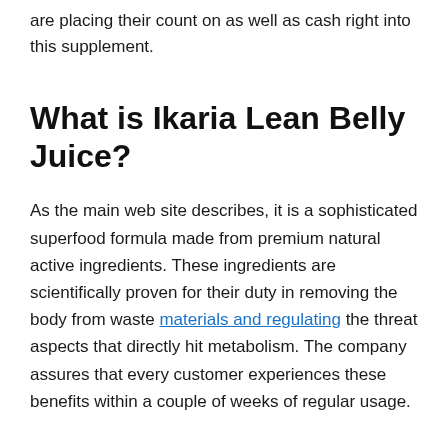are placing their count on as well as cash right into this supplement.
What is Ikaria Lean Belly Juice?
As the main web site describes, it is a sophisticated superfood formula made from premium natural active ingredients. These ingredients are scientifically proven for their duty in removing the body from waste materials and regulating the threat aspects that directly hit metabolism. The company assures that every customer experiences these benefits within a couple of weeks of regular usage.